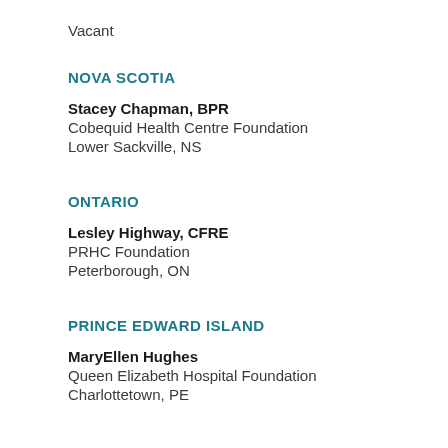Vacant
NOVA SCOTIA
Stacey Chapman, BPR
Cobequid Health Centre Foundation
Lower Sackville, NS
ONTARIO
Lesley Highway, CFRE
PRHC Foundation
Peterborough, ON
PRINCE EDWARD ISLAND
MaryEllen Hughes
Queen Elizabeth Hospital Foundation
Charlottetown, PE